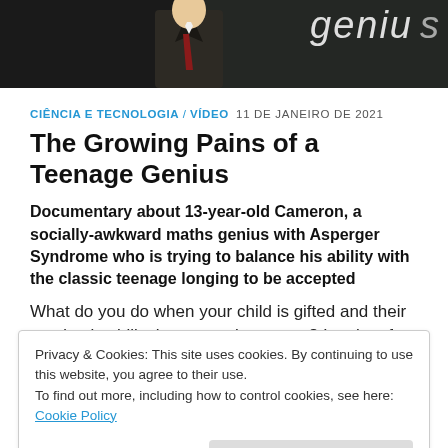[Figure (photo): Person in suit in front of chalkboard with the word 'genius' partially visible]
CIÊNCIA E TECNOLOGIA / VÍDEO  11 DE JANEIRO DE 2021
The Growing Pains of a Teenage Genius
Documentary about 13-year-old Cameron, a socially-awkward maths genius with Asperger Syndrome who is trying to balance his ability with the classic teenage longing to be accepted
What do you do when your child is gifted and their academic ability has overtaken yours? In a lot of ways 13-year-old Cameron Thompson is a
Privacy & Cookies: This site uses cookies. By continuing to use this website, you agree to their use.
To find out more, including how to control cookies, see here:
Cookie Policy
Close and accept
is this ability that has singled him out. That, and